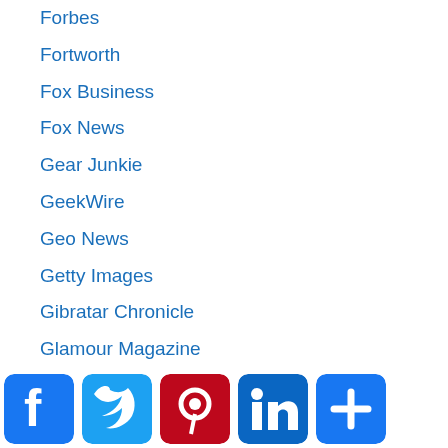Forbes
Fortworth
Fox Business
Fox News
Gear Junkie
GeekWire
Geo News
Getty Images
Gibratar Chronicle
Glamour Magazine
Global Affairs
Global Village Space
Gripped News
Guinness World Records
Hamptons
Head to Toe Wellness
Health & Fitness